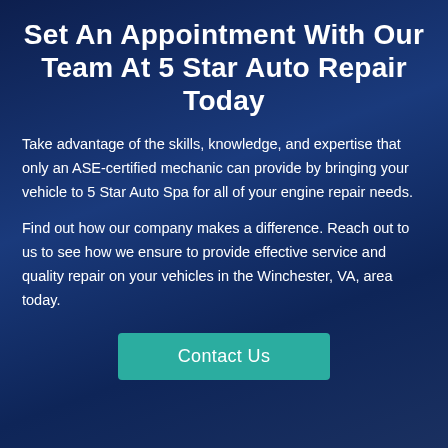Set An Appointment With Our Team At 5 Star Auto Repair Today
Take advantage of the skills, knowledge, and expertise that only an ASE-certified mechanic can provide by bringing your vehicle to 5 Star Auto Spa for all of your engine repair needs.
Find out how our company makes a difference. Reach out to us to see how we ensure to provide effective service and quality repair on your vehicles in the Winchester, VA, area today.
Contact Us